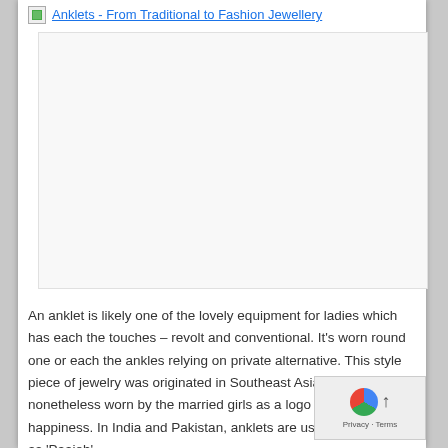Anklets - From Traditional to Fashion Jewellery
[Figure (photo): Large image placeholder for anklets article, image not loaded]
An anklet is likely one of the lovely equipment for ladies which has each the touches – revolt and conventional. It's worn round one or each the ankles relying on private alternative. This style piece of jewelry was originated in Southeast Asia the place it's nonetheless worn by the married girls as a logo of prosperity and happiness. In India and Pakistan, anklets are usually known as as 'Paajeb'